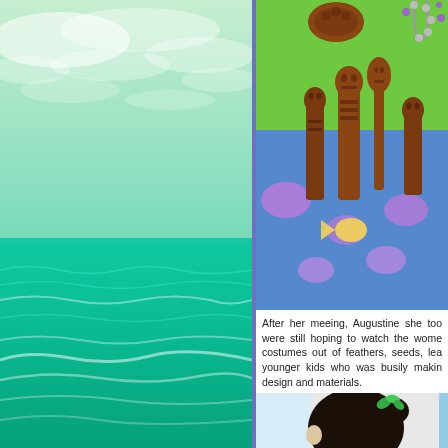[Figure (photo): Teal/green ocean scene with waves and cloudy sky, vivid green-tinted color]
[Figure (photo): Polynesian/Pacific wooden carved figurines and artifacts laid on colorful tropical fabric with beaded necklace]
After her meeing, Augustine she too were still hoping to watch the wome costumes out of feathers, seeds, lea younger kids who was busily makin design and materials.
[Figure (photo): Back of a person's head with dark hair in a bun decorated with green leaves/flowers, partial view]